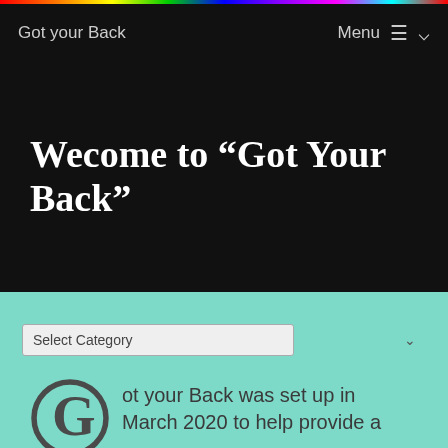Got your Back
Wecome to “Got Your Back”
Select Category
ot your Back was set up in March 2020 to help provide a